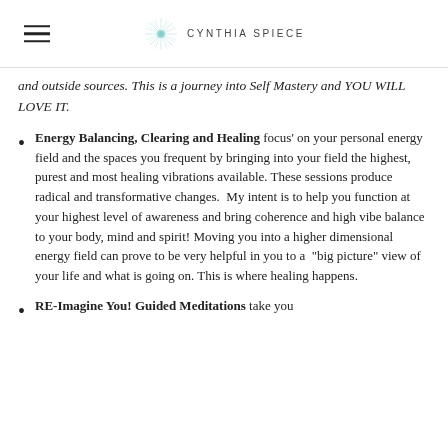CYNTHIA SPIECE
and outside sources. This is a journey into Self Mastery and YOU WILL LOVE IT.
Energy Balancing, Clearing and Healing focus' on your personal energy field and the spaces you frequent by bringing into your field the highest, purest and most healing vibrations available. These sessions produce radical and transformative changes. My intent is to help you function at your highest level of awareness and bring coherence and high vibe balance to your body, mind and spirit! Moving you into a higher dimensional energy field can prove to be very helpful in you to a "big picture" view of your life and what is going on. This is where healing happens.
RE-Imagine You! Guided Meditations take you